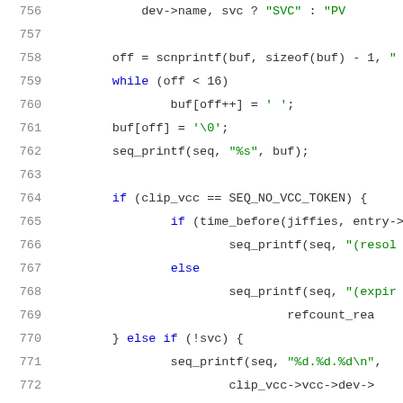[Figure (screenshot): Source code listing, lines 756-777, showing C code with syntax highlighting. Line numbers in gray on left, keywords in blue, string literals in green, other code in dark/black.]